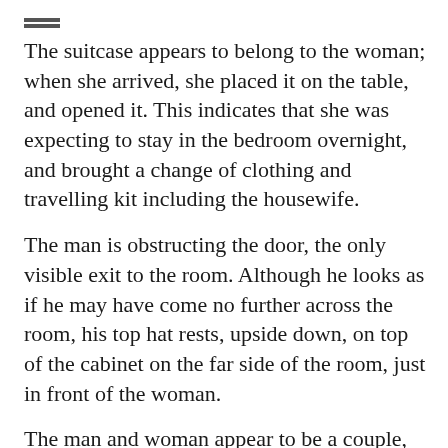The suitcase appears to belong to the woman; when she arrived, she placed it on the table, and opened it. This indicates that she was expecting to stay in the bedroom overnight, and brought a change of clothing and travelling kit including the housewife.
The man is obstructing the door, the only visible exit to the room. Although he looks as if he may have come no further across the room, his top hat rests, upside down, on top of the cabinet on the far side of the room, just in front of the woman.
The man and woman appear to be a couple, who have met in that room to engage in a clandestine sexual relationship. However, the bed is a single not a double, and shows no sign of having been used, nor has the bedding been disturbed in any way. There is a mature fire burning in the fireplace behind the woman and the lamp.